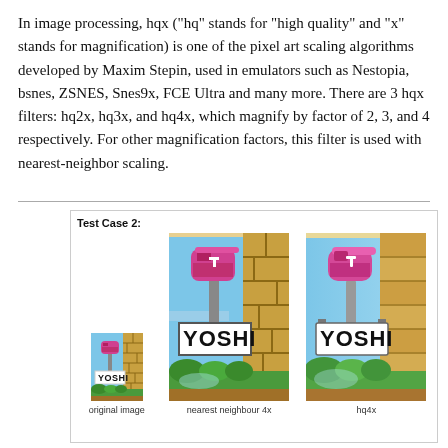In image processing, hqx ("hq" stands for "high quality" and "x" stands for magnification) is one of the pixel art scaling algorithms developed by Maxim Stepin, used in emulators such as Nestopia, bsnes, ZSNES, Snes9x, FCE Ultra and many more. There are 3 hqx filters: hq2x, hq3x, and hq4x, which magnify by factor of 2, 3, and 4 respectively. For other magnification factors, this filter is used with nearest-neighbor scaling.
[Figure (illustration): Test Case 2: Three columns showing original image (small pixel art of Yoshi sign), nearest neighbour 4x upscale, and hq4x upscale. The images show a mailbox with a Yoshi sign, brick wall, blue sky, and green bushes.]